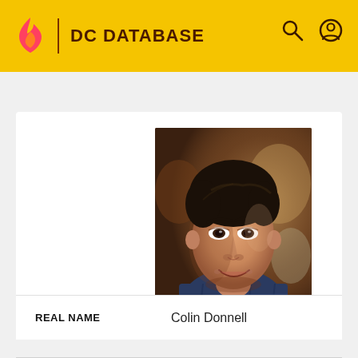DC DATABASE
[Figure (photo): Photo of Colin Donnell, a man with dark brown hair, smiling, wearing a blue plaid shirt, with a warm blurred background]
| REAL NAME |  |
| --- | --- |
| REAL NAME | Colin Donnell |